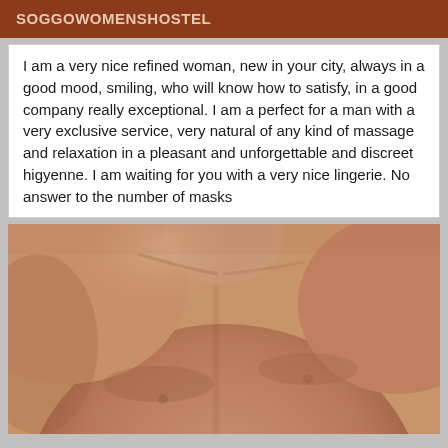SOGGOWOMENSHOSTEL
I am a very nice refined woman, new in your city, always in a good mood, smiling, who will know how to satisfy, in a good company really exceptional. I am a perfect for a man with a very exclusive service, very natural of any kind of massage and relaxation in a pleasant and unforgettable and discreet higyenne. I am waiting for you with a very nice lingerie. No answer to the number of masks
[Figure (photo): Photo of a person's bare torso/chest area with warm skin tones against a neutral beige background]